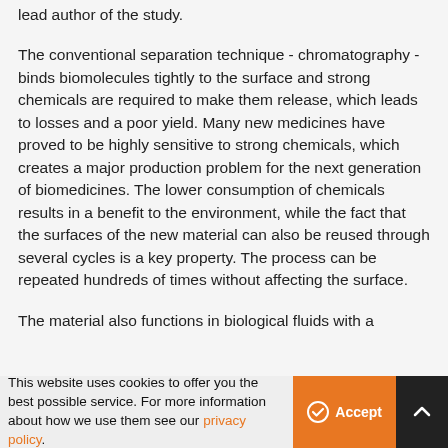lead author of the study.
The conventional separation technique - chromatography - binds biomolecules tightly to the surface and strong chemicals are required to make them release, which leads to losses and a poor yield. Many new medicines have proved to be highly sensitive to strong chemicals, which creates a major production problem for the next generation of biomedicines. The lower consumption of chemicals results in a benefit to the environment, while the fact that the surfaces of the new material can also be reused through several cycles is a key property. The process can be repeated hundreds of times without affecting the surface.
The material also functions in biological fluids with a
This website uses cookies to offer you the best possible service. For more information about how we use them see our privacy policy.